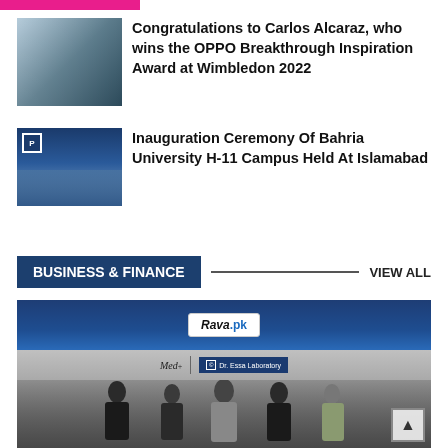[Figure (other): Pink/magenta decorative top bar]
Congratulations to Carlos Alcaraz, who wins the OPPO Breakthrough Inspiration Award at Wimbledon 2022
Inauguration Ceremony Of Bahria University H-11 Campus Held At Islamabad
BUSINESS & FINANCE
VIEW ALL
[Figure (photo): Business event photo with Rava.pk banner and MedIndia / Dr. Essa Laboratory logos; five people standing in formal attire]